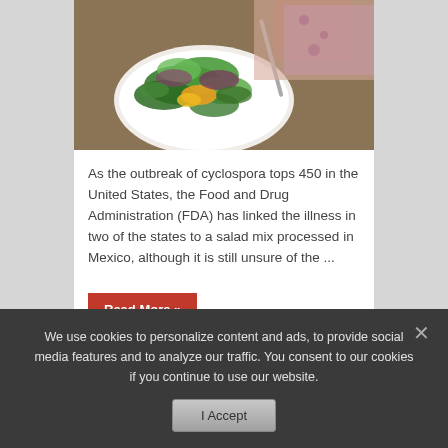[Figure (photo): Close-up photo of a salad with green leaves and orange/yellow elements on a white plate, with a person's hands visible holding utensils]
As the outbreak of cyclospora tops 450 in the United States, the Food and Drug Administration (FDA) has linked the illness in two of the states to a salad mix processed in Mexico, although it is still unsure of the ...
Read More »
We use cookies to personalize content and ads, to provide social media features and to analyze our traffic. You consent to our cookies if you continue to use our website.
I Accept